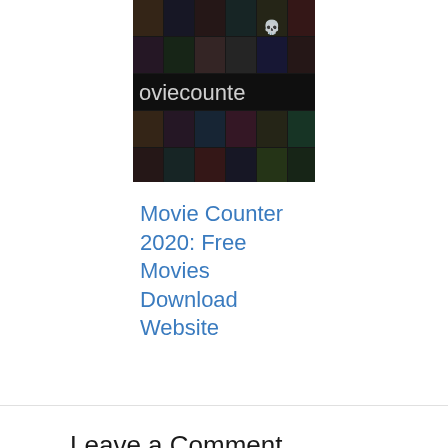[Figure (photo): Movie collage image with text 'moviecounte' visible, showing various movie posters arranged in a grid on dark background]
Movie Counter 2020: Free Movies Download Website
Leave a Comment